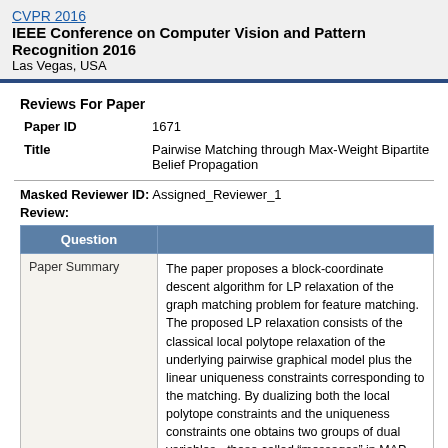CVPR 2016
IEEE Conference on Computer Vision and Pattern Recognition 2016
Las Vegas, USA
Reviews For Paper
|  |  |
| --- | --- |
| Paper ID | 1671 |
| Title | Pairwise Matching through Max-Weight Bipartite Belief Propagation |
Masked Reviewer ID: Assigned_Reviewer_1
Review:
| Question |  |
| --- | --- |
| Paper Summary | The paper proposes a block-coordinate descent algorithm for LP relaxation of the graph matching problem for feature matching. The proposed LP relaxation consists of the classical local polytope relaxation of the underlying pairwise graphical model plus the linear uniqueness constraints corresponding to the matching. By dualizing both the local polytope constraints and the uniqueness constraints one obtains two groups of dual variables - those called "messages" in MAP-inference (energy minimization) for graphical models and those corresponding to the uniqueness constraints ("matching-duals"). The overall block-coordinate optimization consists of alternating optimization w.r.t. the "messages" and "matching duals". Optimization w.r.t. "messages" |